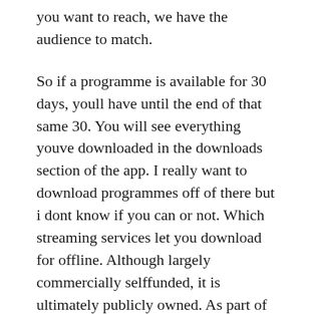you want to reach, we have the audience to match.
So if a programme is available for 30 days, youll have until the end of that same 30. You will see everything youve downloaded in the downloads section of the app. I really want to download programmes off of there but i dont know if you can or not. Which streaming services let you download for offline. Although largely commercially selffunded, it is ultimately publicly owned. As part of your subscription, you will be able to watch. Select the show you d like to download and tap the